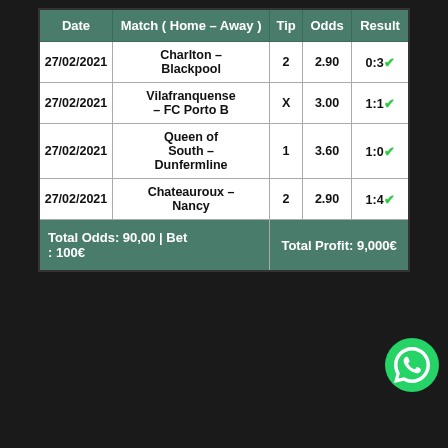| Date | Match ( Home – Away ) | Tip | Odds | Result |
| --- | --- | --- | --- | --- |
| 27/02/2021 | Charlton – Blackpool | 2 | 2.90 | 0:3✓ |
| 27/02/2021 | Vilafranquense – FC Porto B | X | 3.00 | 1:1✓ |
| 27/02/2021 | Queen of South – Dunfermline | 1 | 3.60 | 1:0✓ |
| 27/02/2021 | Chateauroux – Nancy | 2 | 2.90 | 1:4✓ |
| Total Odds: 90,00 | Bet : 100€ |  |  | Total Profit:  9,000€ |  |